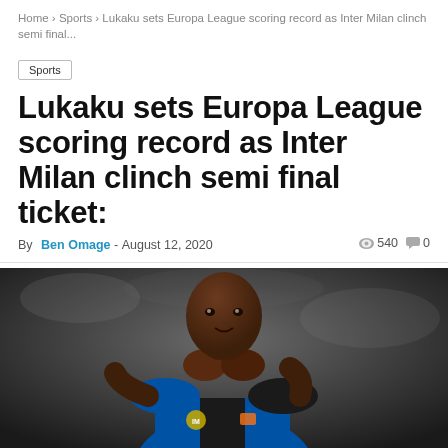Home > Sports > Lukaku sets Europa League scoring record as Inter Milan clinch semi final...
Sports
Lukaku sets Europa League scoring record as Inter Milan clinch semi final ticket:
By Ben Omage - August 12, 2020   540   0
[Figure (photo): Romelu Lukaku in Inter Milan blue and black jersey celebrating a goal, making a heart gesture with his hands in front of a blurred stadium background]